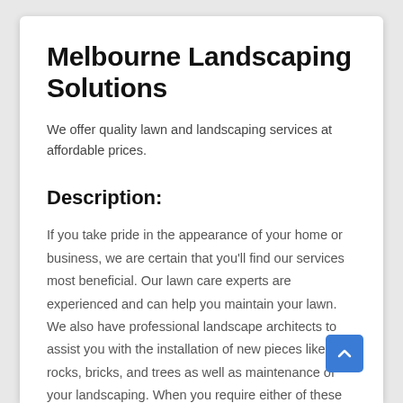Melbourne Landscaping Solutions
We offer quality lawn and landscaping services at affordable prices.
Description:
If you take pride in the appearance of your home or business, we are certain that you'll find our services most beneficial. Our lawn care experts are experienced and can help you maintain your lawn. We also have professional landscape architects to assist you with the installation of new pieces like rocks, bricks, and trees as well as maintenance of your landscaping. When you require either of these services, call on us to